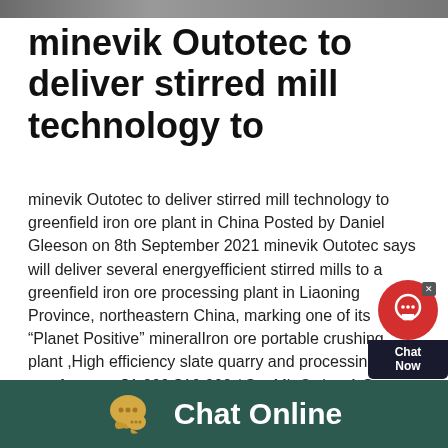[Figure (photo): Top image bar showing a partial photo]
minevik Outotec to deliver stirred mill technology to
minevik Outotec to deliver stirred mill technology to greenfield iron ore plant in China Posted by Daniel Gleeson on 8th September 2021 minevik Outotec says will deliver several energyefficient stirred mills to a greenfield iron ore processing plant in Liaoning Province, northeastern China, marking one of its “Planet Positive” mineralIron ore portable crushing plant ,High efficiency slate quarry and processing lines manfactures $1,000 $10,000 / Set MinOrder: 1 Sets Shandong Chengming Construction Machinery Co, Ltd Contact Now hot sell liquid scale and corrosion inhibitor for Iron and Steel Plant water
[Figure (infographic): Red chat widget with headphone icon and Chat Now label]
[Figure (infographic): Dark teal footer bar with yellow chat bubble icon and Chat Online text in white]